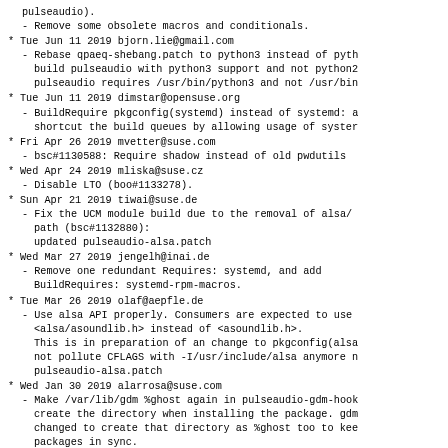- Remove some obsolete macros and conditionals.
* Tue Jun 11 2019 bjorn.lie@gmail.com
  - Rebase qpaeq-shebang.patch to python3 instead of python2, build pulseaudio with python3 support and not python2: pulseaudio requires /usr/bin/python3 and not /usr/bin/
* Tue Jun 11 2019 dimstar@opensuse.org
  - BuildRequire pkgconfig(systemd) instead of systemd: shortcut the build queues by allowing usage of systemd
* Fri Apr 26 2019 mvetter@suse.com
  - bsc#1130588: Require shadow instead of old pwdutils
* Wed Apr 24 2019 mliska@suse.cz
  - Disable LTO (boo#1133278).
* Sun Apr 21 2019 tiwai@suse.de
  - Fix the UCM module build due to the removal of alsa/ path (bsc#1132880):
    updated pulseaudio-alsa.patch
* Wed Mar 27 2019 jengelh@inai.de
  - Remove one redundant Requires: systemd, and add BuildRequires: systemd-rpm-macros.
* Tue Mar 26 2019 olaf@aepfle.de
  - Use alsa API properly. Consumers are expected to use <alsa/asoundlib.h> instead of <asoundlib.h>. This is in preparation of an change to pkgconfig(alsa not pollute CFLAGS with -I/usr/include/alsa anymore pulseaudio-alsa.patch
* Wed Jan 30 2019 alarrosa@suse.com
  - Make /var/lib/gdm %ghost again in pulseaudio-gdm-hook create the directory when installing the package. gdm changed to create that directory as %ghost too to keep packages in sync.